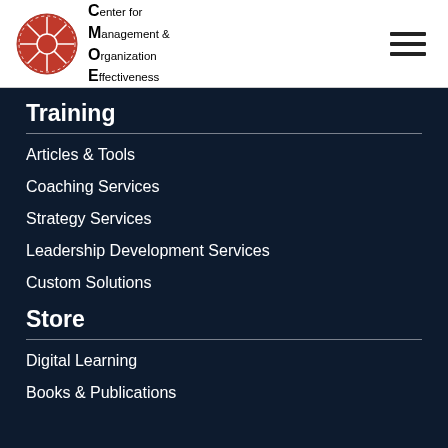[Figure (logo): CMOE logo with red circular segmented emblem and text: Center for Management & Organization Effectiveness]
Training
Articles & Tools
Coaching Services
Strategy Services
Leadership Development Services
Custom Solutions
Store
Digital Learning
Books & Publications